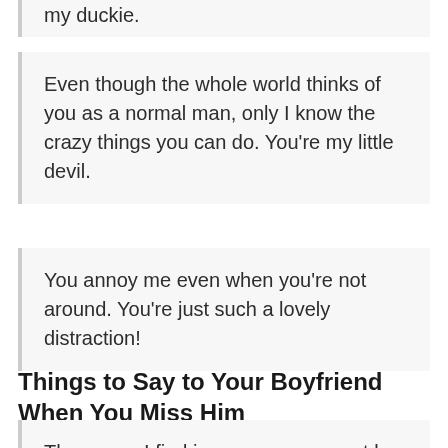my duckie.
Even though the whole world thinks of you as a normal man, only I know the crazy things you can do. You're my little devil.
You annoy me even when you're not around. You're just such a lovely distraction!
Things to Say to Your Boyfriend When You Miss Him
The peace I find in your arms cannot be found anywhere else. I miss the warmth